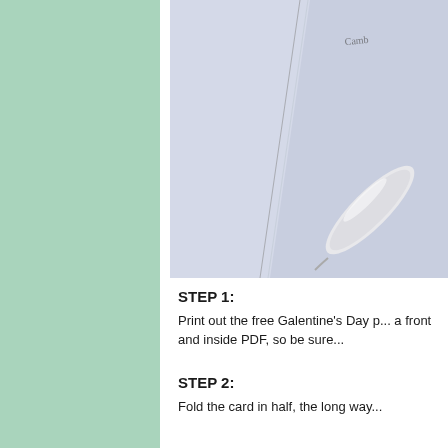[Figure (photo): A photograph of light blue/white paper cards with a pen, showing paper folding or card preparation. Script text partially visible reading 'Camb...' on the card.]
STEP 1:
Print out the free Galentine's Day p... a front and inside PDF, so be sure...
STEP 2:
Fold the card in half, the long way...